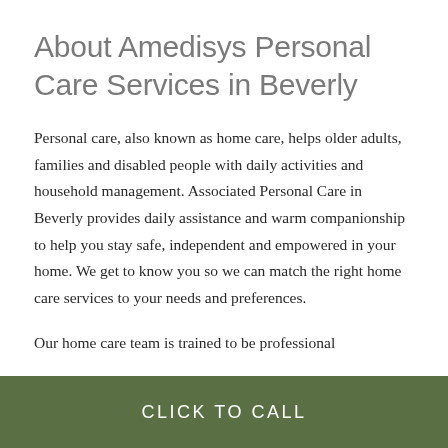About Amedisys Personal Care Services in Beverly
Personal care, also known as home care, helps older adults, families and disabled people with daily activities and household management. Associated Personal Care in Beverly provides daily assistance and warm companionship to help you stay safe, independent and empowered in your home. We get to know you so we can match the right home care services to your needs and preferences.
Our home care team is trained to be professional
CLICK TO CALL